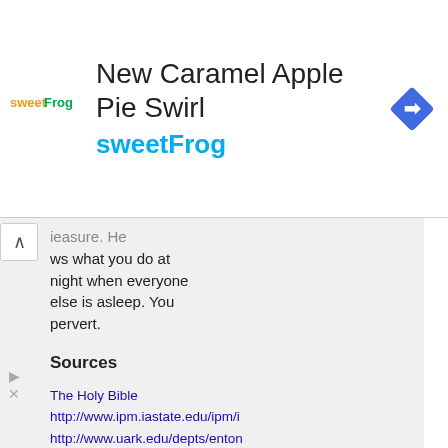[Figure (other): sweetFrog advertisement banner with logo, title 'New Caramel Apple Pie Swirl', brand name 'sweetFrog', and navigation icon]
ieasure. He ws what you do at night when everyone else is asleep. You pervert.
Sources
The Holy Bible
http://www.ipm.iastate.edu/ipm/i
http://www.uark.edu/depts/ento
http://ohioline.osu.edu/hyg-fact/2000/2067.html
http://www.ento.psu.edu/extensi
http://faunanet.gov.au/wos/factfil Fact_ID=98
http://www.math.umd.edu/~schr
A couple really icky pictures of the wicked little things can be found at http://bugguide.net/node/view/19